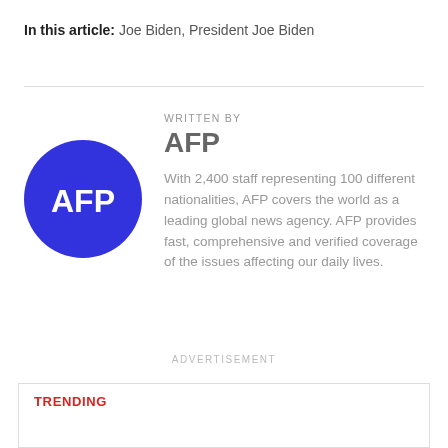In this article: Joe Biden, President Joe Biden
[Figure (logo): AFP circular blue logo with white AFP text]
WRITTEN BY
AFP
With 2,400 staff representing 100 different nationalities, AFP covers the world as a leading global news agency. AFP provides fast, comprehensive and verified coverage of the issues affecting our daily lives.
ADVERTISEMENT
TRENDING